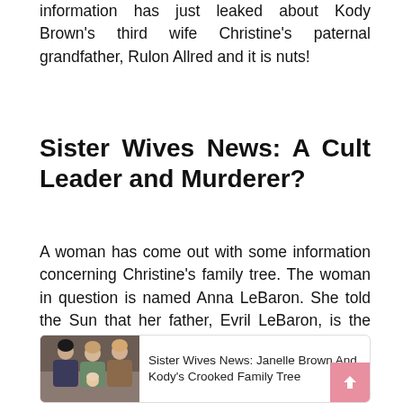information has just leaked about Kody Brown's third wife Christine's paternal grandfather, Rulon Allred and it is nuts!
Sister Wives News: A Cult Leader and Murderer?
A woman has come out with some information concerning Christine's family tree. The woman in question is named Anna LeBaron. She told the Sun that her father, Evril LeBaron, is the one who ordered the murder of Rulon Allred, Christine's grandfather!
[Figure (photo): A photo of three women with a baby]
Sister Wives News: Janelle Brown And Kody's Crooked Family Tree